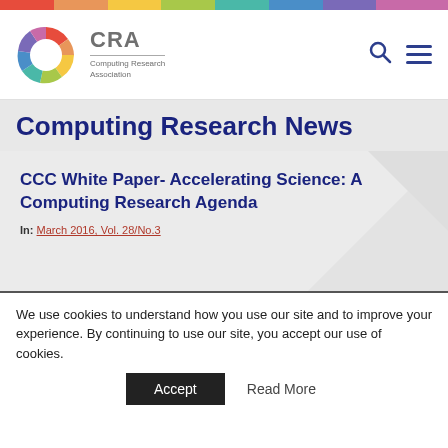[Figure (logo): CRA Computing Research Association logo with colorful circular swoosh and rainbow navigation bar at top]
CRA — Computing Research Association
Computing Research News
CCC White Paper- Accelerating Science: A Computing Research Agenda
In: March 2016, Vol. 28/No.3
We use cookies to understand how you use our site and to improve your experience. By continuing to use our site, you accept our use of cookies.
Accept   Read More